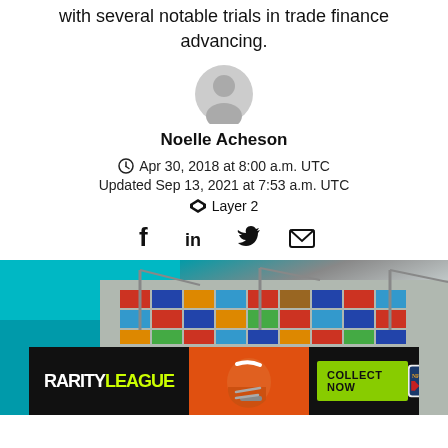with several notable trials in trade finance advancing.
[Figure (illustration): Generic user avatar icon, grey circle with person silhouette]
Noelle Acheson
Apr 30, 2018 at 8:00 a.m. UTC
Updated Sep 13, 2021 at 7:53 a.m. UTC
Layer 2
[Figure (illustration): Social share icons: Facebook, LinkedIn, Twitter, Email]
[Figure (photo): Aerial view of a shipping port with colorful cargo containers and cranes, turquoise water visible]
[Figure (other): Advertisement banner: RarityLeague with NFL football helmet, 'COLLECT NOW' button, NFL and Bengals logos]